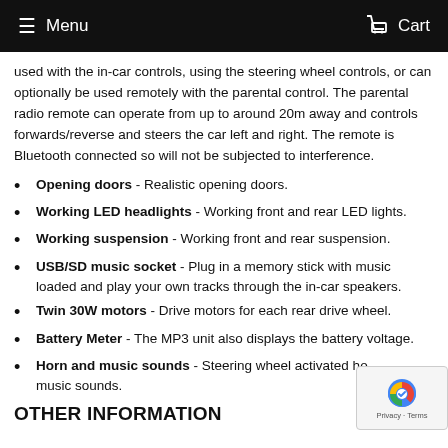Menu   Cart
used with the in-car controls, using the steering wheel controls, or can optionally be used remotely with the parental control. The parental radio remote can operate from up to around 20m away and controls forwards/reverse and steers the car left and right. The remote is Bluetooth connected so will not be subjected to interference.
Opening doors - Realistic opening doors.
Working LED headlights - Working front and rear LED lights.
Working suspension - Working front and rear suspension.
USB/SD music socket - Plug in a memory stick with music loaded and play your own tracks through the in-car speakers.
Twin 30W motors - Drive motors for each rear drive wheel.
Battery Meter - The MP3 unit also displays the battery voltage.
Horn and music sounds - Steering wheel activated horn and music sounds.
OTHER INFORMATION